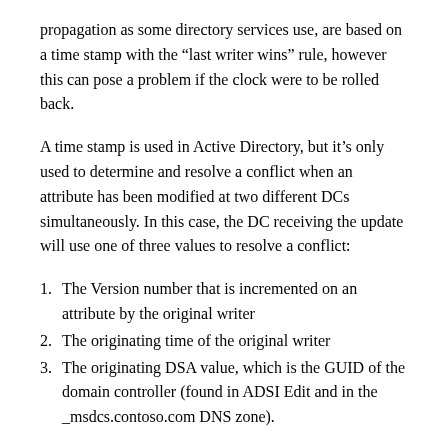propagation as some directory services use, are based on a time stamp with the “last writer wins” rule, however this can pose a problem if the clock were to be rolled back.
A time stamp is used in Active Directory, but it’s only used to determine and resolve a conflict when an attribute has been modified at two different DCs simultaneously. In this case, the DC receiving the update will use one of three values to resolve a conflict:
The Version number that is incremented on an attribute by the original writer
The originating time of the original writer
The originating DSA value, which is the GUID of the domain controller (found in ADSI Edit and in the _msdcs.contoso.com DNS zone).
4. ...